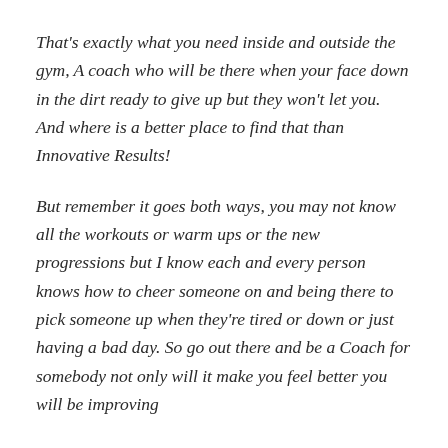That's exactly what you need inside and outside the gym, A coach who will be there when your face down in the dirt ready to give up but they won't let you. And where is a better place to find that than Innovative Results!
But remember it goes both ways, you may not know all the workouts or warm ups or the new progressions but I know each and every person knows how to cheer someone on and being there to pick someone up when they're tired or down or just having a bad day. So go out there and be a Coach for somebody not only will it make you feel better you will be improving